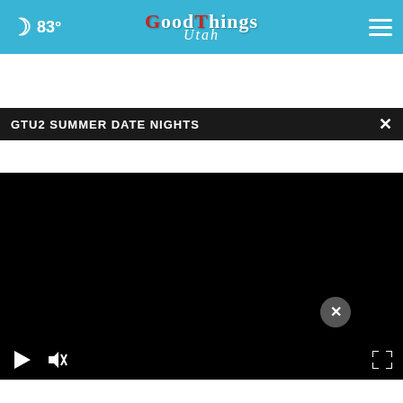83° Good Things Utah
GTU2 SUMMER DATE NIGHTS
[Figure (screenshot): Video player area showing a black/dark video with playback controls (play, mute) at bottom and fullscreen button]
[Figure (photo): Below the video player, partial view of a person's face/neck area with skin tones visible]
[Figure (infographic): AARP advertisement banner: green mascot emoji face, text 'It’s not too late to take charge of your retirement. Get your top 3 tips →', Ad Council logo, AARP logo, coin icon]